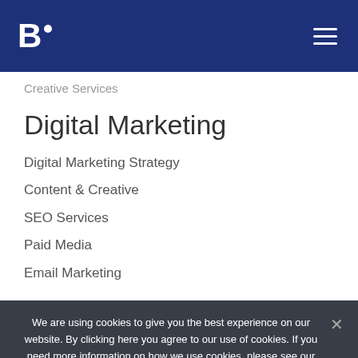[Figure (logo): B. logo with white dot on dark blue header background, with hamburger menu icon on the right]
Creative Services
Digital Marketing
Digital Marketing Strategy
Content & Creative
SEO Services
Paid Media
Email Marketing
We are using cookies to give you the best experience on our website. By clicking here you agree to our use of cookies. If you need more information on how we use cookies, please see our privacy policy.
Accept